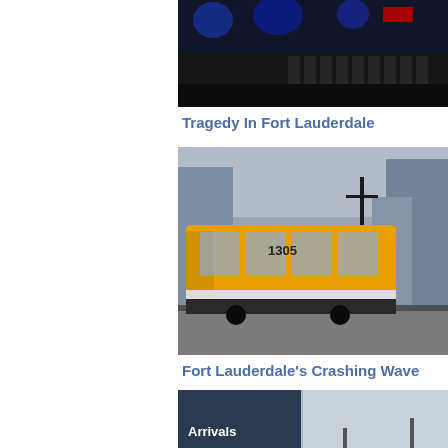[Figure (photo): Airport terminal interior with rows of seats, dark and lit with colored lights]
Tragedy In Fort Lauderdale
[Figure (photo): Yellow tram/streetcar on a city street with buildings in background]
Fort Lauderdale's Crashing Wave
[Figure (photo): Airport sign showing Arrivals, Departures, Rental Car Return, Next Right]
Flying While Black
[Figure (photo): Cars parked in dark parking lot or garage area]